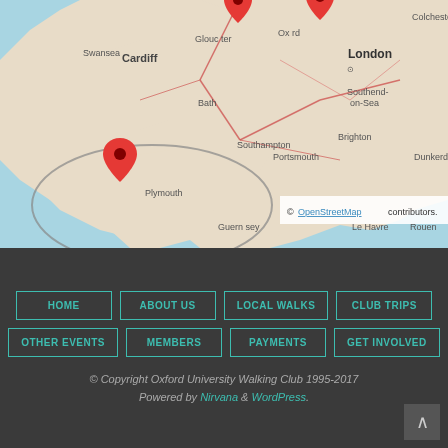[Figure (map): OpenStreetMap showing southern England and Wales with red location pin markers near Oxford/Gloucester area and Plymouth/Devon area. Shows cities including Cardiff, Swansea, London, Bath, Southampton, Portsmouth, Brighton, Exeter, Plymouth, Guernsey, and others.]
© OpenStreetMap contributors.
HOME
ABOUT US
LOCAL WALKS
CLUB TRIPS
OTHER EVENTS
MEMBERS
PAYMENTS
GET INVOLVED
© Copyright Oxford University Walking Club 1995-2017
Powered by Nirvana & WordPress.